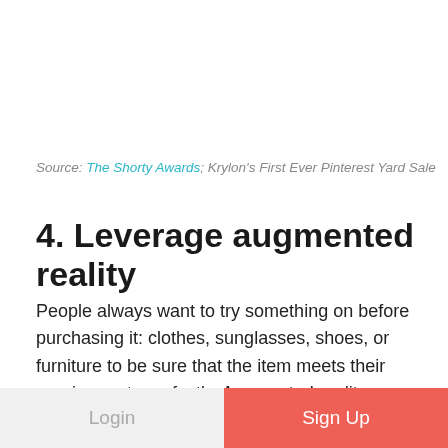Source: The Shorty Awards; Krylon's First Ever Pinterest Yard Sale
4. Leverage augmented reality
People always want to try something on before purchasing it: clothes, sunglasses, shoes, or furniture to be sure that the item meets their requirements perfectly. Augmented reality apps enable customers to virtually try out everything they need and find out whether a product fits.
Login | Sign Up